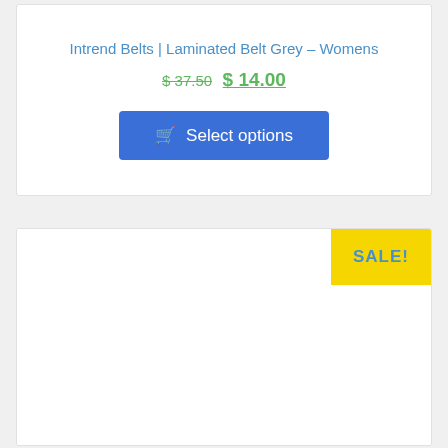Intrend Belts | Laminated Belt Grey – Womens
$ 37.50  $ 14.00
Select options
[Figure (other): Second product card area with SALE! badge, white background, mostly blank product image area]
SALE!